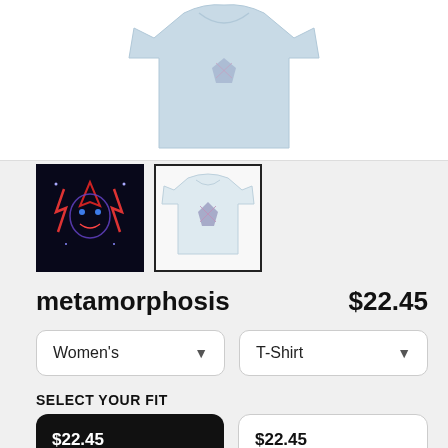[Figure (photo): Light blue women's t-shirt product image on white background]
[Figure (photo): Dark thumbnail showing neon graphic design (red/blue lightning bolt mask art on black background)]
[Figure (photo): Light thumbnail showing white t-shirt with metamorphosis graphic print, currently selected (black border)]
metamorphosis
$22.45
Women's
T-Shirt
SELECT YOUR FIT
$22.45
Fitted
$22.45
Regular Unisex